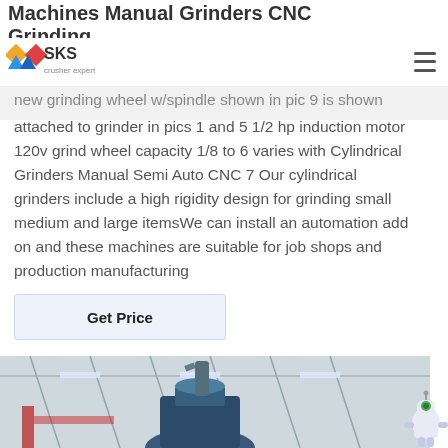SKS crusher expert
Machines Manual Grinders CNC Grinding
new grinding wheel w/spindle shown in pic 9 is shown attached to grinder in pics 1 and 5 1/2 hp induction motor 120v grind wheel capacity 1/8 to 6 varies with Cylindrical Grinders Manual Semi Auto CNC 7 Our cylindrical grinders include a high rigidity design for grinding small medium and large itemsWe can install an automation add on and these machines are suitable for job shops and production manufacturing
Get Price
[Figure (photo): Industrial grinding machine inside a factory/warehouse with visible roof trusses and lighting fixtures; a large blue industrial grinder is visible.]